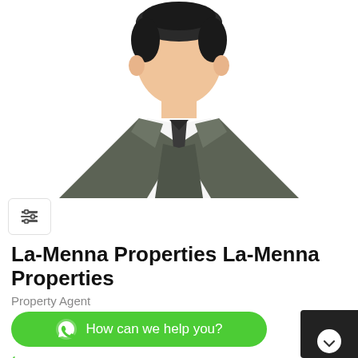[Figure (illustration): Generic male professional avatar/silhouette wearing a dark suit with tie, flat vector illustration style, top half of body visible, no face details]
La-Menna Properties La-Menna Properties
Property Agent
[Figure (other): WhatsApp-style green button with WhatsApp icon and text 'How can we help you?']
08036002596